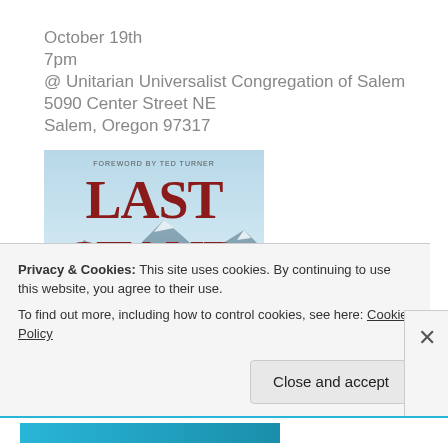October 19th
7pm
@ Unitarian Universalist Congregation of Salem
5090 Center Street NE
Salem, Oregon 97317
[Figure (illustration): Book cover for 'Last Stand' with foreword by Ted Turner. Large red serif text reading 'LAST STAND' on a light blue sky background with mountain scenery at the bottom.]
Privacy & Cookies: This site uses cookies. By continuing to use this website, you agree to their use.
To find out more, including how to control cookies, see here: Cookie Policy
Close and accept